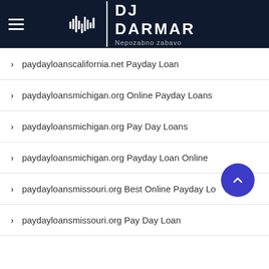DJ DARMAR — Nepozabno zabavo
paydayloanscalifornia.net Payday Loan
paydayloansmichigan.org Online Payday Loans
paydayloansmichigan.org Pay Day Loans
paydayloansmichigan.org Payday Loan Online
paydayloansmissouri.org Best Online Payday Loans
paydayloansmissouri.org Pay Day Loan